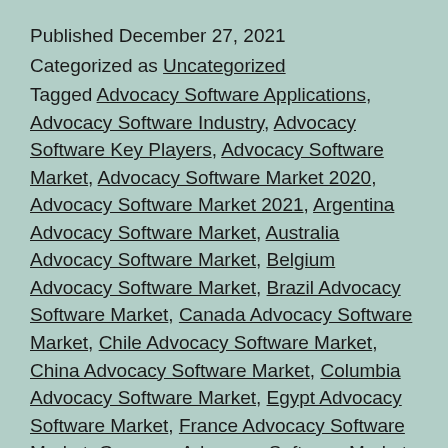Published December 27, 2021
Categorized as Uncategorized
Tagged Advocacy Software Applications, Advocacy Software Industry, Advocacy Software Key Players, Advocacy Software Market, Advocacy Software Market 2020, Advocacy Software Market 2021, Argentina Advocacy Software Market, Australia Advocacy Software Market, Belgium Advocacy Software Market, Brazil Advocacy Software Market, Canada Advocacy Software Market, Chile Advocacy Software Market, China Advocacy Software Market, Columbia Advocacy Software Market, Egypt Advocacy Software Market, France Advocacy Software Market, Germany Advocacy Software Market, Global Advocacy Software Market, India Advocacy Software Market, Indonesia Advocacy Software Market, Italy Advocacy Software Market, Japan Advocacy Software